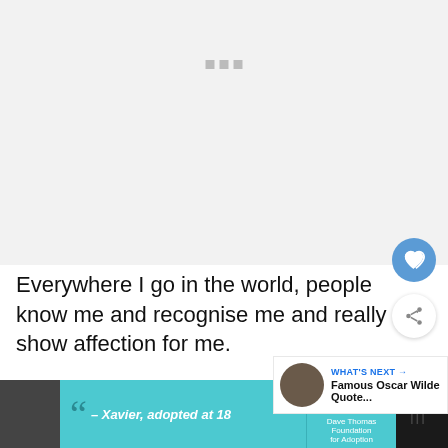[Figure (photo): Gray placeholder area for an image at top of page, with three small gray squares visible]
Everywhere I go in the world, people know me and recognise me and really show affection for me.
—Tony Curtis
WHAT'S NEXT → Famous Oscar Wilde Quote...
[Figure (photo): Advertisement bar at bottom: person in winter hat, quote from Xavier adopted at 18, Dave Thomas Foundation for Adoption logo]